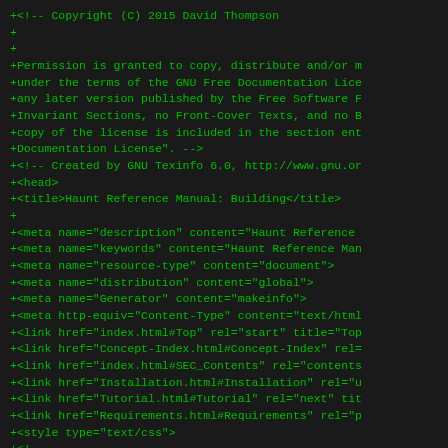+<!-- Copyright (C) 2015 David Thompson
+
+
+Permission is granted to copy, distribute and/or m
+under the terms of the GNU Free Documentation Lice
+any later version published by the Free Software F
+Invariant Sections, no Front-Cover Texts, and no B
+copy of the license is included in the section ent
+Documentation License". -->
+<!-- Created by GNU Texinfo 6.0, http://www.gnu.or
+<head>
+<title>Haunt Reference Manual: Building</title>
++
+<meta name="description" content="Haunt Reference
+<meta name="keywords" content="Haunt Reference Man
+<meta name="resource-type" content="document">
+<meta name="distribution" content="global">
+<meta name="Generator" content="makeinfo">
+<meta http-equiv="Content-Type" content="text/html
+<link href="index.html#Top" rel="start" title="Top
+<link href="Concept-Index.html#Concept-Index" rel=
+<link href="index.html#SEC_Contents" rel="contents
+<link href="Installation.html#Installation" rel="u
+<link href="Tutorial.html#Tutorial" rel="next" tit
+<link href="Requirements.html#Requirements" rel="p
+<style type="text/css">
+<!--
+a.summary-letter {text-decoration: none}
+blockquote.indentedblock {margin-right: 0em}
+blockquote.smallindentedblock {margin-right: 0em;